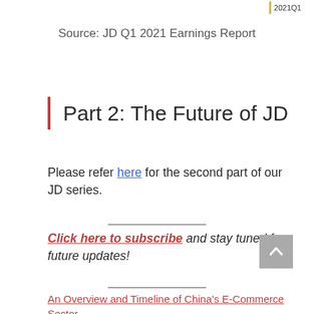2021Q1
Source: JD Q1 2021 Earnings Report
Part 2: The Future of JD
Please refer here for the second part of our JD series.
Click here to subscribe and stay tuned for future updates!
An Overview and Timeline of China's E-Commerce Sector